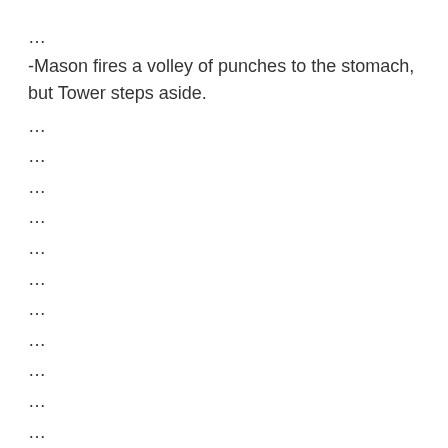...
-Mason fires a volley of punches to the stomach, but Tower steps aside.
...
...
...
...
...
...
...
...
...
...
...
...
...
...
...